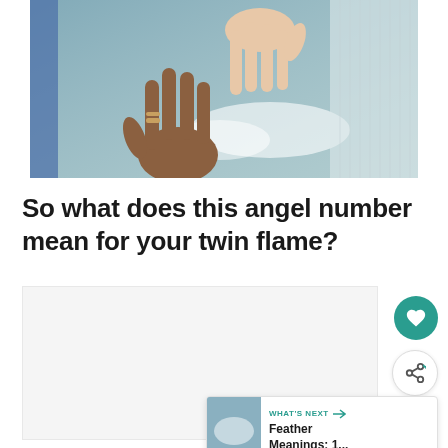[Figure (illustration): An illustration of two hands reaching toward each other — one darker-skinned hand and one lighter-skinned hand — against a light blue-grey sky background, displayed as a framed artwork or canvas.]
So what does this angel number mean for your twin flame?
[Figure (other): A light grey content placeholder box, possibly an advertisement or embedded content area.]
[Figure (other): A circular teal heart/like button icon.]
[Figure (other): A circular white share button with a share icon.]
[Figure (other): A 'What's Next' recommendation card showing a thumbnail image of a sky/clouds and the text 'Feather Meanings: 1...']